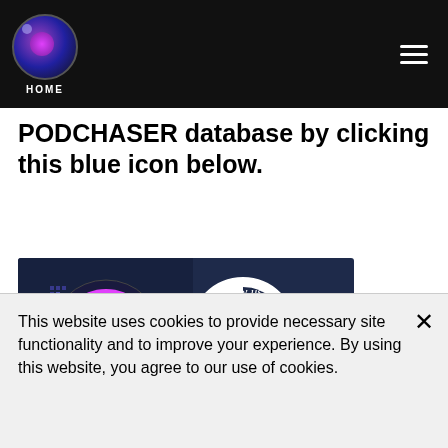Home
PODCHASER database by clicking this blue icon below.
[Figure (screenshot): Podchaser review badge showing 'Review us on PODCHASER' with The Balut Kiki Project logo, 5 pink stars, 95 ratings, and 85 reviews on a dark navy background]
This website uses cookies to provide necessary site functionality and to improve your experience. By using this website, you agree to our use of cookies.